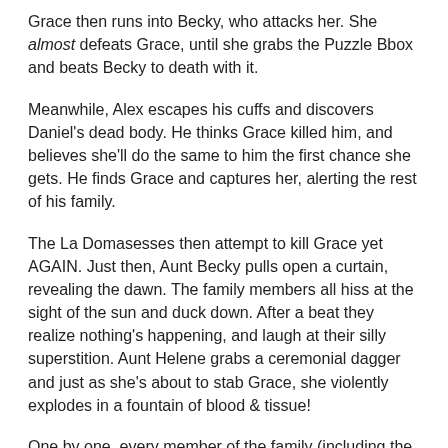Grace then runs into Becky, who attacks her. She almost defeats Grace, until she grabs the Puzzle Bbox and beats Becky to death with it.
Meanwhile, Alex escapes his cuffs and discovers Daniel's dead body. He thinks Grace killed him, and believes she'll do the same to him the first chance she gets. He finds Grace and captures her, alerting the rest of his family.
The La Domasesses then attempt to kill Grace yet AGAIN. Just then, Aunt Becky pulls open a curtain, revealing the dawn. The family members all hiss at the sight of the sun and duck down. After a beat they realize nothing's happening, and laugh at their silly superstition. Aunt Helene grabs a ceremonial dagger and just as she's about to stab Grace, she violently explodes in a fountain of blood & tissue!
One by one, every member of the family (including the kids!) explodes. Alex lingers a while longer, and begs for Grace to forgive him, saying they can still make it work. She pulls off her wedding ring and tosses it to him, saying she wants a divorce. Alex promptly explodes.